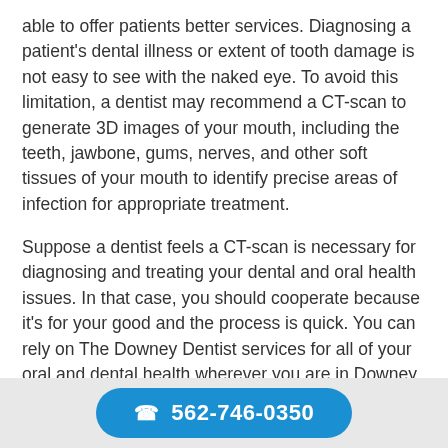able to offer patients better services. Diagnosing a patient's dental illness or extent of tooth damage is not easy to see with the naked eye. To avoid this limitation, a dentist may recommend a CT-scan to generate 3D images of your mouth, including the teeth, jawbone, gums, nerves, and other soft tissues of your mouth to identify precise areas of infection for appropriate treatment.
Suppose a dentist feels a CT-scan is necessary for diagnosing and treating your dental and oral health issues. In that case, you should cooperate because it's for your good and the process is quick. You can rely on The Downey Dentist services for all of your oral and dental health wherever you are in Downey and
562-746-0350